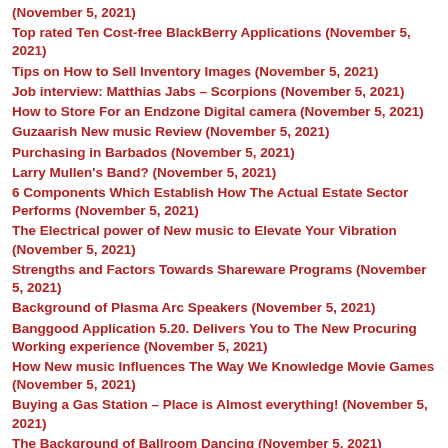(November 5, 2021)
Top rated Ten Cost-free BlackBerry Applications (November 5, 2021)
Tips on How to Sell Inventory Images (November 5, 2021)
Job interview: Matthias Jabs – Scorpions (November 5, 2021)
How to Store For an Endzone Digital camera (November 5, 2021)
Guzaarish New music Review (November 5, 2021)
Purchasing in Barbados (November 5, 2021)
Larry Mullen's Band? (November 5, 2021)
6 Components Which Establish How The Actual Estate Sector Performs (November 5, 2021)
The Electrical power of New music to Elevate Your Vibration (November 5, 2021)
Strengths and Factors Towards Shareware Programs (November 5, 2021)
Background of Plasma Arc Speakers (November 5, 2021)
Banggood Application 5.20. Delivers You to The New Procuring Working experience (November 5, 2021)
How New music Influences The Way We Knowledge Movie Games (November 5, 2021)
Buying a Gas Station – Place is Almost everything! (November 5, 2021)
The Background of Ballroom Dancing (November 5, 2021)
Verified Steps to Uncover a Industry For Your Audio Information Item